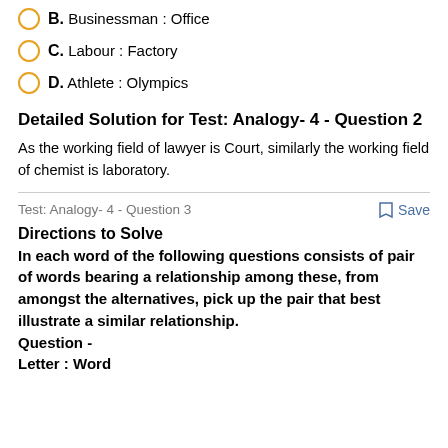B. Businessman : Office
C. Labour : Factory
D. Athlete : Olympics
Detailed Solution for Test: Analogy- 4 - Question 2
As the working field of lawyer is Court, similarly the working field of chemist is laboratory.
Test: Analogy- 4 - Question 3
Save
Directions to Solve
In each word of the following questions consists of pair of words bearing a relationship among these, from amongst the alternatives, pick up the pair that best illustrate a similar relationship.
Question -
Letter : Word